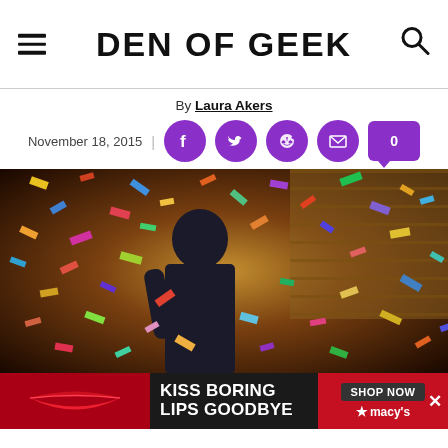DEN OF GEEK
By Laura Akers
November 18, 2015
[Figure (photo): Man in dark suit standing amid falling colorful confetti in an office setting]
[Figure (photo): Advertisement banner: KISS BORING LIPS GOODBYE with Macy's branding and SHOP NOW button]